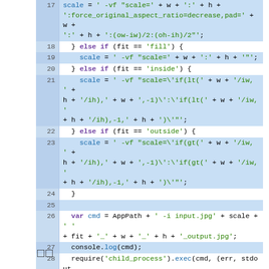[Figure (screenshot): Code editor screenshot showing JavaScript code lines 17–33 with syntax highlighting. Lines show scale variable assignments for different fit modes (fill, inside, outside), then a cmd variable and console.log/require statements.]
[][]